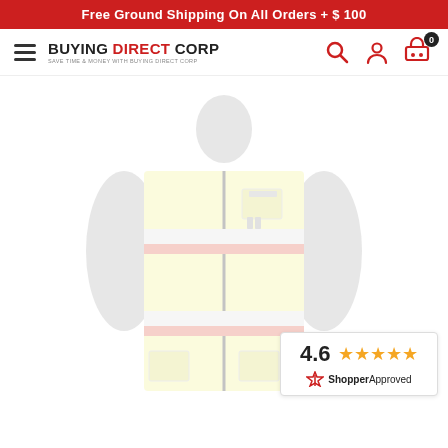Free Ground Shipping On All Orders + $ 100
[Figure (logo): Buying Direct Corp logo with hamburger menu, search, user, and cart icons]
[Figure (photo): High-visibility safety vest on a mannequin torso, yellow/lime with reflective silver and orange/red stripes]
4.6 ★★★★★ ShopperApproved